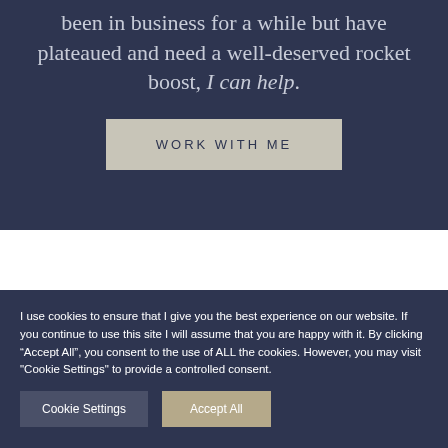been in business for a while but have plateaued and need a well-deserved rocket boost, I can help.
WORK WITH ME
I use cookies to ensure that I give you the best experience on our website. If you continue to use this site I will assume that you are happy with it. By clicking “Accept All”, you consent to the use of ALL the cookies. However, you may visit "Cookie Settings" to provide a controlled consent.
Cookie Settings
Accept All